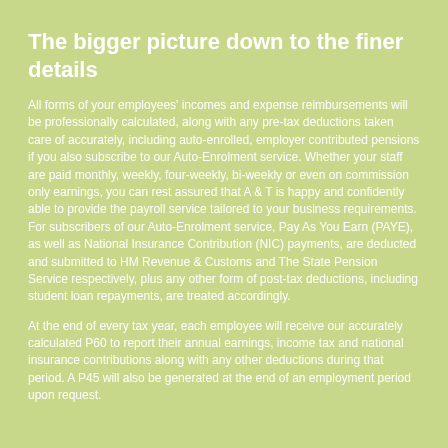The bigger picture down to the finer details
All forms of your employees' incomes and expense reimbursements will be professionally calculated, along with any pre-tax deductions taken care of accurately, including auto-enrolled, employer contributed pensions if you also subscribe to our Auto-Enrolment service. Whether your staff are paid monthly, weekly, four-weekly, bi-weekly or even on commission only earnings, you can rest assured that A & T is happy and confidently able to provide the payroll service tailored to your business requirements. For subscribers of our Auto-Enrolment service, Pay As You Earn (PAYE), as well as National Insurance Contribution (NIC) payments, are deducted and submitted to HM Revenue & Customs and The State Pension Service respectively, plus any other form of post-tax deductions, including student loan repayments, are treated accordingly.
At the end of every tax year, each employee will receive our accurately calculated P60 to report their annual earnings, income tax and national insurance contributions along with any other deductions during that period. A P45 will also be generated at the end of an employment period upon request.